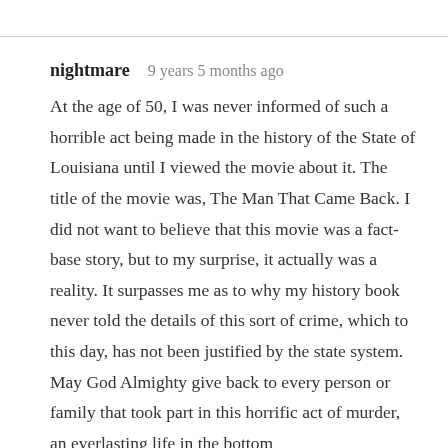nightmare   9 years 5 months ago
At the age of 50, I was never informed of such a horrible act being made in the history of the State of Louisiana until I viewed the movie about it. The title of the movie was, The Man That Came Back. I did not want to believe that this movie was a fact-base story, but to my surprise, it actually was a reality. It surpasses me as to why my history book never told the details of this sort of crime, which to this day, has not been justified by the state system. May God Almighty give back to every person or family that took part in this horrific act of murder, an everlasting life in the bottom